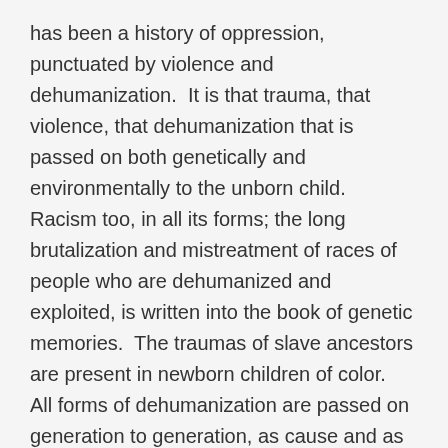has been a history of oppression, punctuated by violence and dehumanization.  It is that trauma, that violence, that dehumanization that is passed on both genetically and environmentally to the unborn child.
Racism too, in all its forms; the long brutalization and mistreatment of races of people who are dehumanized and exploited, is written into the book of genetic memories.  The traumas of slave ancestors are present in newborn children of color.
All forms of dehumanization are passed on generation to generation, as cause and as effect.  What wonder then, that the autistic child turns away from the world to enter a world of his...